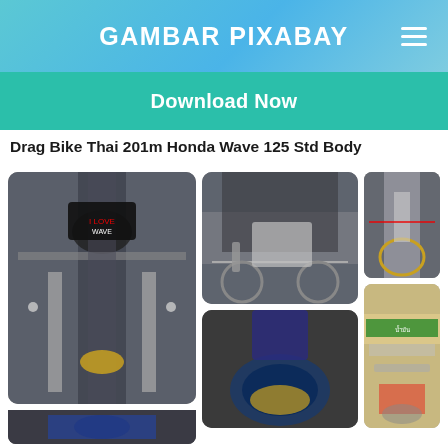GAMBAR PIXABAY
Download Now
Drag Bike Thai 201m Honda Wave 125 Std Body
[Figure (photo): Grid of drag bike motorcycle photos showing Honda Wave 125 from multiple angles including front fork view, side profile with exhaust, engine detail, and close-up of frame parts]